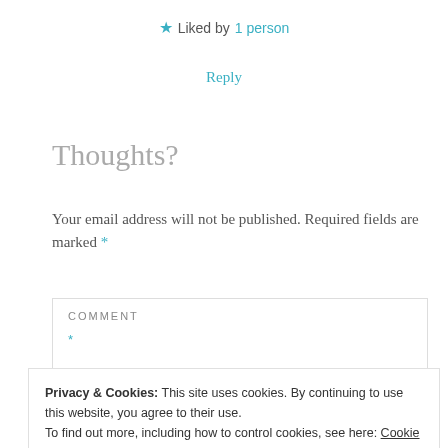★ Liked by 1 person
Reply
Thoughts?
Your email address will not be published. Required fields are marked *
COMMENT
*
Privacy & Cookies: This site uses cookies. By continuing to use this website, you agree to their use.
To find out more, including how to control cookies, see here: Cookie Policy
Close and accept